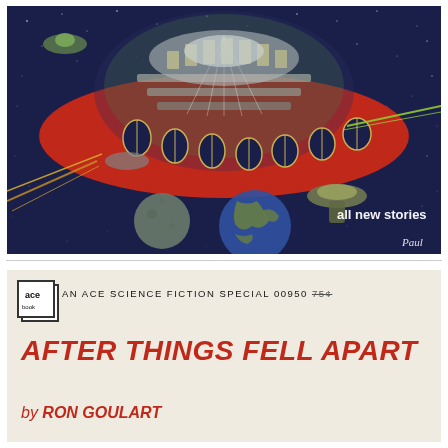[Figure (illustration): Retro science fiction pulp magazine cover illustration showing a large red flying saucer/space station with transparent dome revealing interior levels, firing laser beams, floating in dark starfield space with Earth and moon visible below. Artist signature 'Paul' visible. Text overlay reads 'all new stories'.]
[Figure (illustration): Book cover for 'After Things Fell Apart' by Ron Goulart. Ace Books science fiction special, catalog number 00950, price 75 cents (crossed out). Cream/beige background with red bold italic title text and author name.]